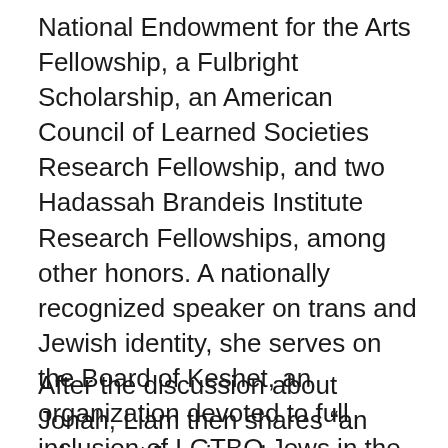National Endowment for the Arts Fellowship, a Fulbright Scholarship, an American Council of Learned Societies Research Fellowship, and two Hadassah Brandeis Institute Research Fellowships, among other honors. A nationally recognized speaker on trans and Jewish identity, she serves on the Board of Keshet, an organization devoted to full inclusion of LGTBQ Jews in the Jewish world.
After the discussion about Jonah, Liam then shares “an other text,” a piece by